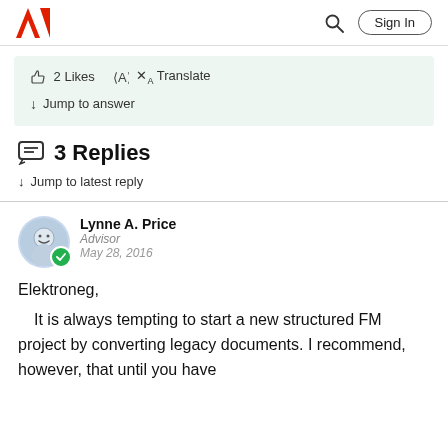Adobe | Sign In
2 Likes  Translate  Jump to answer
3 Replies
Jump to latest reply
Lynne A. Price
Advisor
May 28, 2016
Elektroneg,
    It is always tempting to start a new structured FM project by converting legacy documents. I recommend, however, that until you have